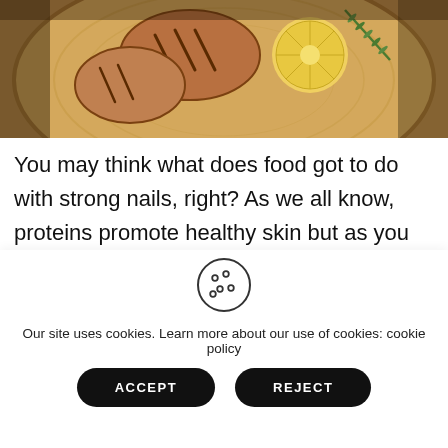[Figure (photo): Grilled chicken or meat on a wooden cutting board with lemon slices and rosemary herb garnish, viewed from above.]
You may think what does food got to do with strong nails, right? As we all know, proteins promote healthy skin but as you must know, it can promote healthy nail growth as well. Try to
[Figure (illustration): Cookie icon — a circular cookie with bite taken out and chocolate chip dots, outline style.]
Our site uses cookies. Learn more about our use of cookies: cookie policy
ACCEPT
REJECT